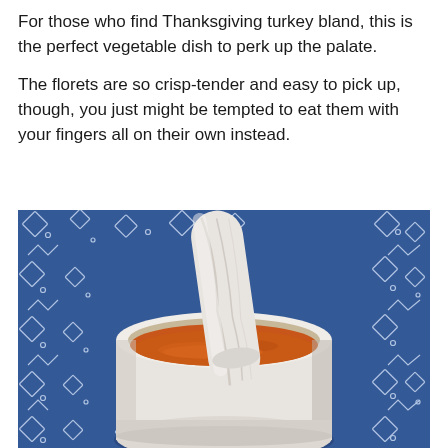For those who find Thanksgiving turkey bland, this is the perfect vegetable dish to perk up the palate.
The florets are so crisp-tender and easy to pick up, though, you just might be tempted to eat them with your fingers all on their own instead.
[Figure (photo): A white marble mortar and pestle containing orange-red spice powder, set on a blue and white patterned fabric background.]